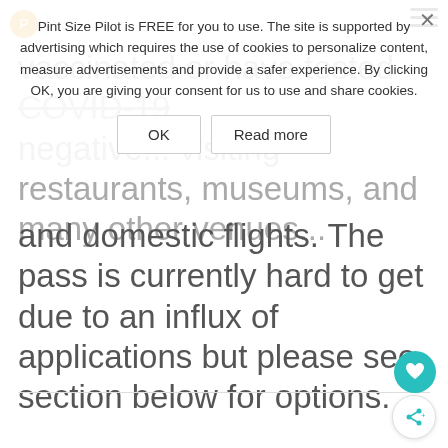vaccinated or have tested COVID-19 negative... visiting restaurants, museums, and many other venues... needed for long distance train travel (TGV etc.) and domestic flights. The pass is currently hard to get due to an influx of applications but please see section below for options.
Pint Size Pilot is FREE for you to use. The site is supported by advertising which requires the use of cookies to personalize content, measure advertisements and provide a safer experience. By clicking OK, you are giving your consent for us to use and share cookies.
OK
Read more